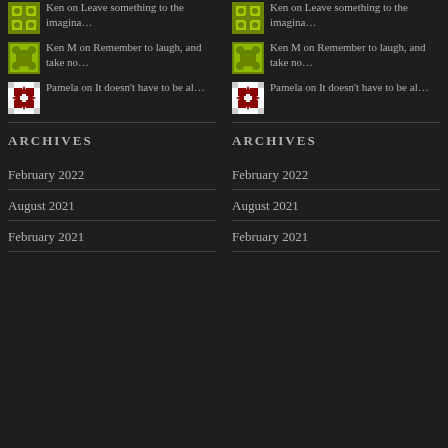[Figure (illustration): Two-column blog sidebar layout showing comment entries and archive links on dark background]
Ken on Leave something to the imagina…
Ken M on Remember to laugh, and take no…
Pamela on It doesn't have to be al…
Ken on Leave something to the imagina…
Ken M on Remember to laugh, and take no…
Pamela on It doesn't have to be al…
ARCHIVES
ARCHIVES
February 2022
August 2021
February 2021
February 2022
August 2021
February 2021